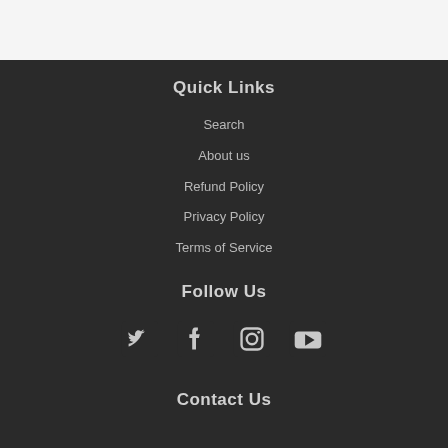Quick Links
Search
About us
Refund Policy
Privacy Policy
Terms of Service
Follow Us
[Figure (illustration): Social media icons: Twitter, Facebook, Instagram, YouTube]
Contact Us